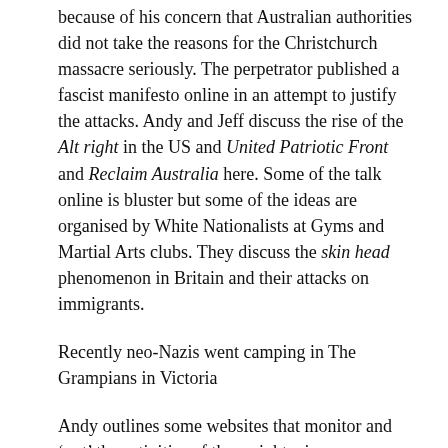because of his concern that Australian authorities did not take the reasons for the Christchurch massacre seriously. The perpetrator published a fascist manifesto online in an attempt to justify the attacks. Andy and Jeff discuss the rise of the Alt right in the US and United Patriotic Front and Reclaim Australia here. Some of the talk online is bluster but some of the ideas are organised by White Nationalists at Gyms and Martial Arts clubs. They discuss the skin head phenomenon in Britain and their attacks on immigrants.
Recently neo-Nazis went camping in The Grampians in Victoria
Andy outlines some websites that monitor and 'out' the activities of these right wing groups. Slack Bastard is one and argues that: